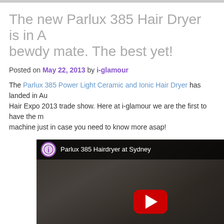The new Parlux 385 Hair Dryer is in Australia bewdy mate. The best yet!
Posted on May 22, 2013 by i-glamour
The Parlux 385 Power Light Ceramic and Ionic Hair Dryer has landed in Australia at the Hair Expo 2013 trade show. Here at i-glamour we are the first to have the little cutting machine just in case you need to know more asap!
[Figure (screenshot): Embedded YouTube video thumbnail showing a woman holding a pink Parlux 385 hair dryer. Video title reads 'Parlux 385 Hairdryer at Sydney' with i-glamour logo. YouTube red play button visible in center.]